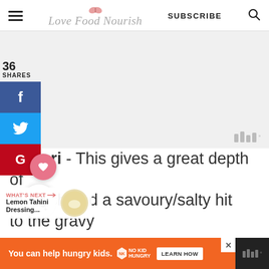Love Food Nourish — SUBSCRIBE
36 SHARES
Tamari - This gives a great depth of the dish and a savoury/salty hit to the gravy
[Figure (screenshot): Social share sidebar with Facebook, Twitter, Pinterest buttons and floating heart/share icons. Gray content placeholder area with Wistia watermark.]
WHAT'S NEXT → Lemon Tahini Dressing...
[Figure (photo): Small circular thumbnail of lemon tahini dressing]
[Figure (other): Orange advertisement banner: 'You can help hungry kids.' with No Kid Hungry logo and LEARN HOW button]